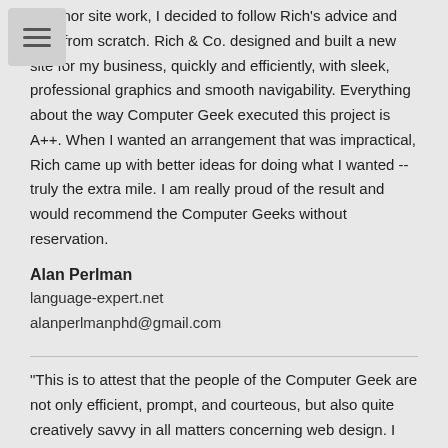of minor site work, I decided to follow Rich's advice and start from scratch. Rich & Co. designed and built a new site for my business, quickly and efficiently, with sleek, professional graphics and smooth navigability. Everything about the way Computer Geek executed this project is A++. When I wanted an arrangement that was impractical, Rich came up with better ideas for doing what I wanted -- truly the extra mile. I am really proud of the result and would recommend the Computer Geeks without reservation.
Alan Perlman
language-expert.net
alanperlmanphd@gmail.com
"This is to attest that the people of the Computer Geek are not only efficient, prompt, and courteous, but also quite creatively savvy in all matters concerning web design. I recommend highly the ever helpful services of the Computer Geek to anyone with